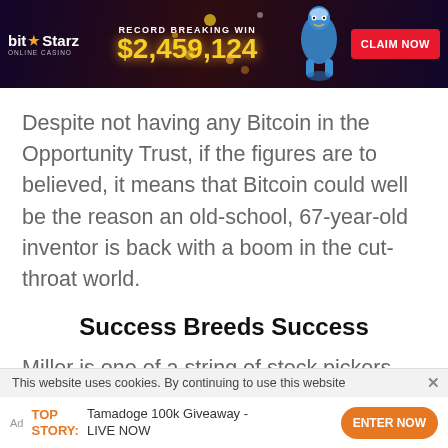[Figure (infographic): BitStarz Online Casino advertisement banner with dark background, orange star logo, 'RECORD BREAKING WIN $2,459,124' text in gold, genie character illustration, and red 'CLAIM NOW' button]
Despite not having any Bitcoin in the Opportunity Trust, if the figures are to believed, it means that Bitcoin could well be the reason an old-school, 67-year-old inventor is back with a boom in the cut-throat world.
Success Breeds Success
Miller is one of a string of stock pickers that have benefitted from backing Bitcoin in its early days.
This website uses cookies. By continuing to use this website
[Figure (infographic): Bottom ad bar: 'Ad TOP STORY: Tamadoge 100k Giveaway - LIVE NOW' with orange ENTER NOW button]